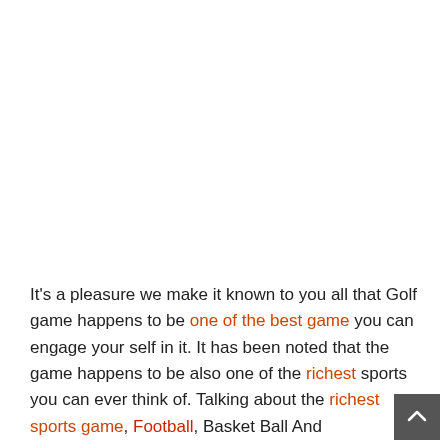It's a pleasure we make it known to you all that Golf game happens to be one of the best game you can engage your self in it. It has been noted that the game happens to be also one of the richest sports you can ever think of. Talking about the richest sports game, Football, Basket Ball And Golf...